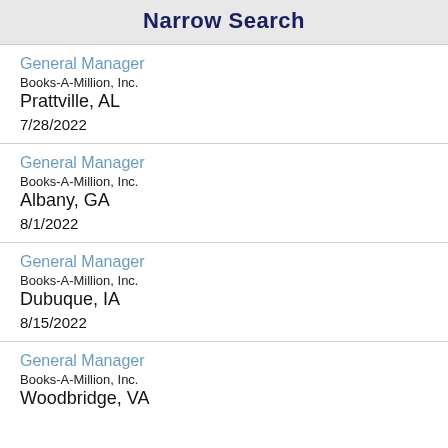Narrow Search
General Manager
Books-A-Million, Inc.
Prattville, AL
7/28/2022
General Manager
Books-A-Million, Inc.
Albany, GA
8/1/2022
General Manager
Books-A-Million, Inc.
Dubuque, IA
8/15/2022
General Manager
Books-A-Million, Inc.
Woodbridge, VA